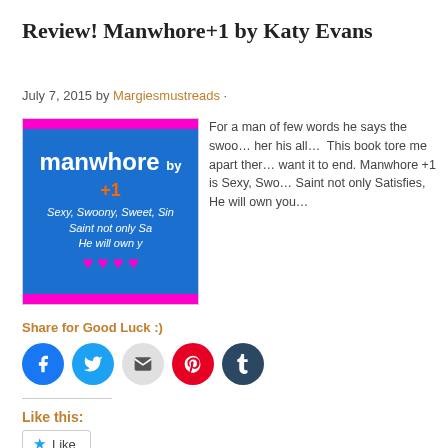Review! Manwhore+1 by Katy Evans
July 7, 2015 by Margiesmustreads ·
[Figure (illustration): Book cover for Manwhore +1 by Katy Evans. Blue background with hot pink top and bottom bars. White text reads 'manwhore by' with '+1' in orange, cursive text 'Sexy, Swoony, Sweet, Sing... Saint not only Sa... He will own y...' and pink hearts at the bottom.]
For a man of few words he says the swoo... her his all… This book tore me apart ther... want it to end. Manwhore +1 is Sexy, Swo... Saint not only Satisfies, He will own you…
Share for Good Luck :)
[Figure (infographic): Five circular social share buttons: Facebook (blue), Twitter (light blue), Email (gray), Pinterest (red), Tumblr (dark blue)]
Like this:
Like